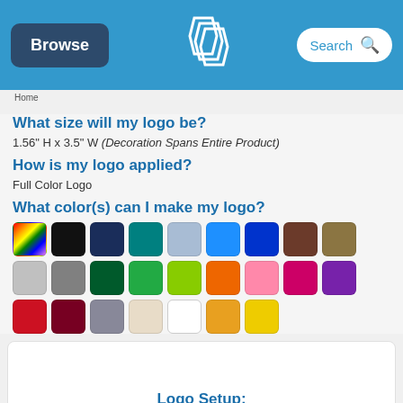Browse | [QLP Logo] | Search
What size will my logo be?
1.56" H x 3.5" W (Decoration Spans Entire Product)
How is my logo applied?
Full Color Logo
What color(s) can I make my logo?
[Figure (infographic): Grid of 25 color swatches including rainbow, black, navy, teal, light blue, blue, dark blue, brown, tan, light gray, gray (row 1); dark green, green, lime green, orange, pink, magenta, purple, red, dark red, gray, beige (row 2); white, orange/gold, yellow (row 3)]
Logo Setup: